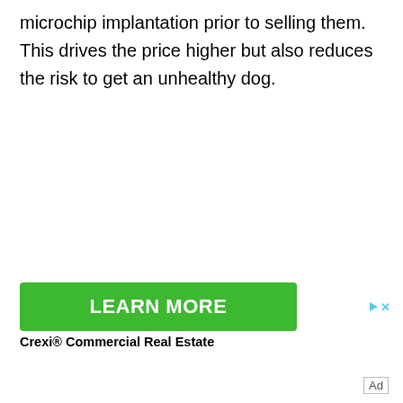microchip implantation prior to selling them. This drives the price higher but also reduces the risk to get an unhealthy dog.
[Figure (other): Green 'LEARN MORE' button advertisement for Crexi® Commercial Real Estate, with small ad icon (triangle play button and X) in top right.]
Crexi® Commercial Real Estate
Ad